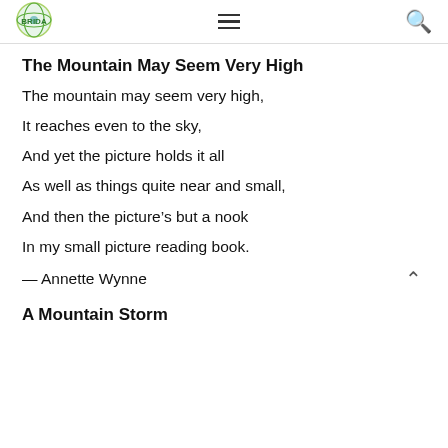[logo] [menu] [search]
The Mountain May Seem Very High
The mountain may seem very high,
It reaches even to the sky,
And yet the picture holds it all
As well as things quite near and small,
And then the picture's but a nook
In my small picture reading book.
— Annette Wynne
A Mountain Storm